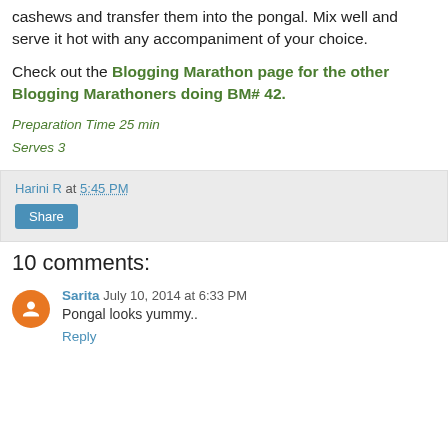cashews and transfer them into the pongal. Mix well and serve it hot with any accompaniment of your choice.
Check out the Blogging Marathon page for the other Blogging Marathoners doing BM# 42.
Preparation Time 25 min
Serves 3
Harini R at 5:45 PM
Share
10 comments:
Sarita  July 10, 2014 at 6:33 PM
Pongal looks yummy..
Reply